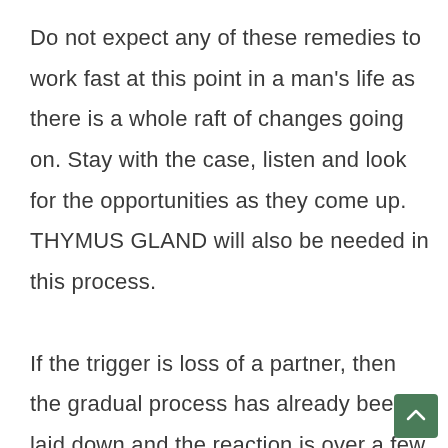Do not expect any of these remedies to work fast at this point in a man’s life as there is a whole raft of changes going on. Stay with the case, listen and look for the opportunities as they come up. THYMUS GLAND will also be needed in this process.

If the trigger is loss of a partner, then the gradual process has already been laid down and the reaction is over a few months or years. So in breast cancer, lo…